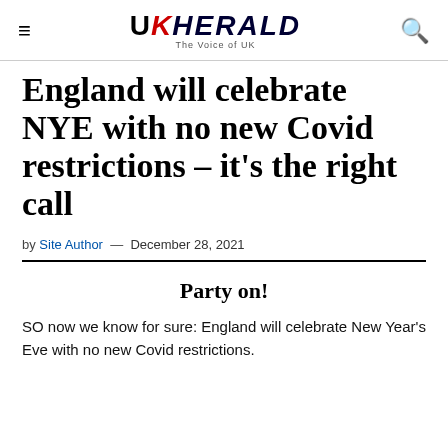UK HERALD — The Voice of UK
England will celebrate NYE with no new Covid restrictions – it's the right call
by Site Author — December 28, 2021
Party on!
SO now we know for sure: England will celebrate New Year's Eve with no new Covid restrictions.